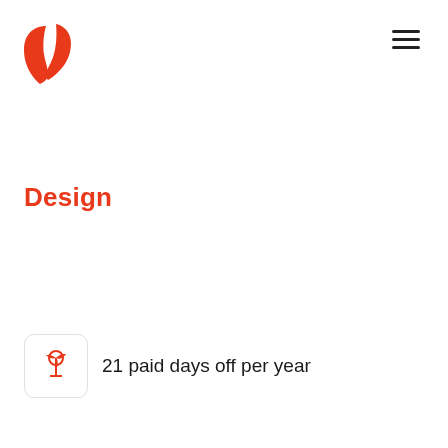[Figure (logo): Red/orange stylized leaf-like logo mark in top left]
[Figure (illustration): Hamburger menu icon (three horizontal lines) in top right]
Design
21 paid days off per year